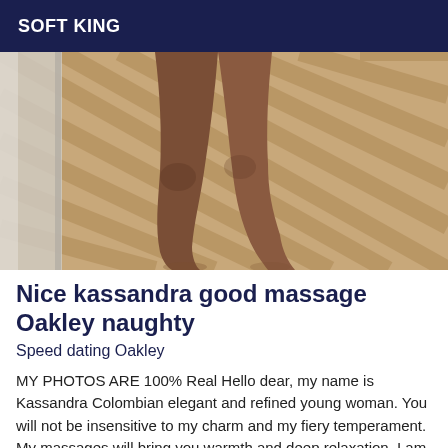SOFT KING
[Figure (photo): Cropped photo showing legs of a person standing on a wood parquet floor, from approximately knee height down, with a light-colored wall and door in the background.]
Nice kassandra good massage Oakley naughty
Speed dating Oakley
MY PHOTOS ARE 100% Real Hello dear, my name is Kassandra Colombian elegant and refined young woman. You will not be insensitive to my charm and my fiery temperament. My massages will bring you warmth and deep relaxation. I am attentive, ardent and I know